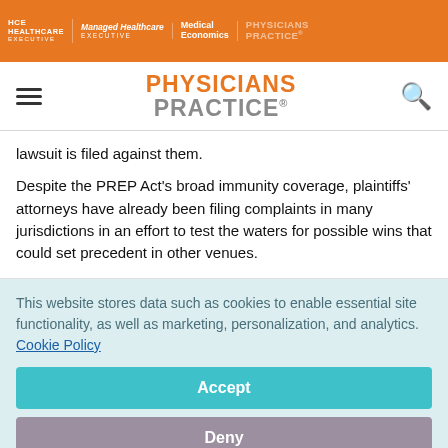HEALTHCARE EXECUTIVE | Managed Healthcare EXECUTIVE | Medical Economics | PHYSICIANS PRACTICE
PHYSICIANS PRACTICE
lawsuit is filed against them.
Despite the PREP Act's broad immunity coverage, plaintiffs' attorneys have already been filing complaints in many jurisdictions in an effort to test the waters for possible wins that could set precedent in other venues.
This website stores data such as cookies to enable essential site functionality, as well as marketing, personalization, and analytics. Cookie Policy
Accept
Deny